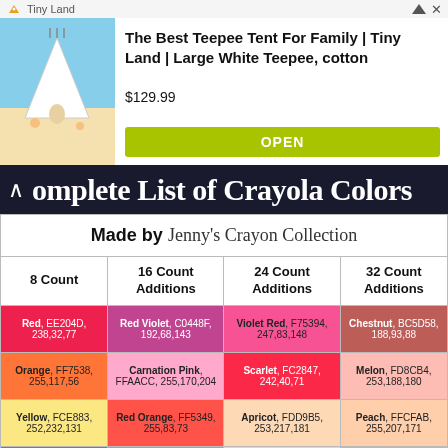[Figure (screenshot): Ad banner for Tiny Land teepee tent product showing product image, title, price $129.99 and OPEN button]
Complete List of Crayola Colors
| 8 Count | 16 Count Additions | 24 Count Additions | 32 Count Additions |
| --- | --- | --- | --- |
| Red, EE204D, 238,32,77 | Red Violet, C0448F, 192,68,143 | Violet Red, F75394, 247,83,148 | Chestnut, BC5D58, 188,93,88 |
| Orange, FF7538, 255,117,56 | Carnation Pink, FFAACC, 255,170,204 | Scarlet, FC2847, 242,40,71 | Melon, FDBCB4, 253,188,180 |
| Yellow, FCE883, 252,232,131 | Red Orange, FF5349, 255,83,73 | Apricot, FDD9B5, 253,217,181 | Peach, FFCFAB, 255,207,171 |
| Green, 1CAC78, 28,172,120 | Yellow Orange, FF8653, 255,182,83 | Dandelion, FDDB6D, 253,219,109 | Tan, FAA76C, 250,167,108 |
| Blue, 1F75FE, 31,117,254 | Yellow Green, C5E384, 197,227,132 | Green Yellow, F0E891, 240,232,145 | Sky Blue, 80DAEB, 128,218,235 |
| Violet (Purple), 926EAE, 146,110,174 | Blue Green, 199EBD, 25,158,189 | Cerulean, 1DACD6, 29,172,214 | Wisteria, CDA4DE, 205,164,222 |
| Brown, B5674D, ... | Blue Violet, 7366BD, ... | Indigo, 5D76CB, ... | Cadet Blue, B0B7C6, ... |